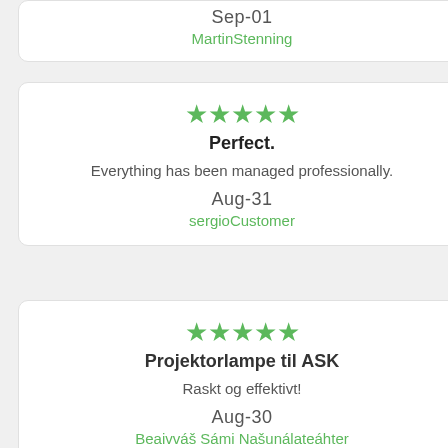Sep-01
MartinStenning
★★★★★
Perfect.
Everything has been managed professionally.
Aug-31
sergioCustomer
★★★★★
Projektorlampe til ASK
Raskt og effektivt!
Aug-30
Beaivváš Sámi Našunálateáhter